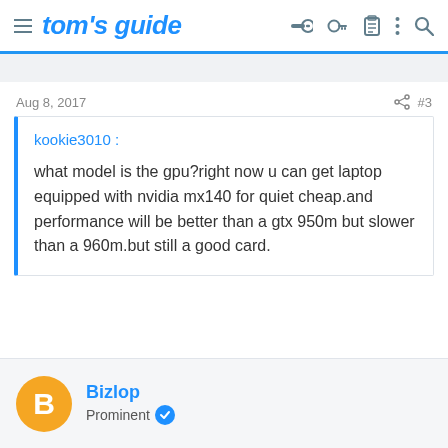tom's guide
Aug 8, 2017   #3
kookie3010 :

what model is the gpu?right now u can get laptop equipped with nvidia mx140 for quiet cheap.and performance will be better than a gtx 950m but slower than a 960m.but still a good card.
Bizlop
Prominent